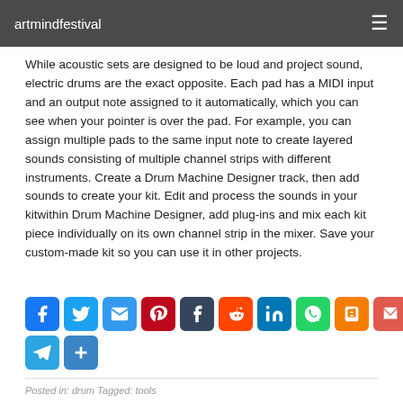artmindfestival
While acoustic sets are designed to be loud and project sound, electric drums are the exact opposite. Each pad has a MIDI input and an output note assigned to it automatically, which you can see when your pointer is over the pad. For example, you can assign multiple pads to the same input note to create layered sounds consisting of multiple channel strips with different instruments. Create a Drum Machine Designer track, then add sounds to create your kit. Edit and process the sounds in your kitwithin Drum Machine Designer, add plug-ins and mix each kit piece individually on its own channel strip in the mixer. Save your custom-made kit so you can use it in other projects.
[Figure (infographic): Row of social media share buttons: Facebook, Twitter, Email, Pinterest, Tumblr, Reddit, LinkedIn, WhatsApp, Blogger, Gmail, Telegram, Share/plus]
Posted in: drum Tagged: tools